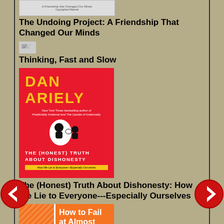[Figure (illustration): Book cover thumbnail for The Undoing Project: A Friendship That Changed Our Minds]
The Undoing Project: A Friendship That Changed Our Minds
[Figure (illustration): Broken/missing image thumbnail for Thinking, Fast and Slow]
Thinking, Fast and Slow
[Figure (illustration): Book cover for The (Honest) Truth About Dishonesty by Dan Ariely - red cover with yellow text]
The (Honest) Truth About Dishonesty: How We Lie to Everyone---Especially Ourselves
[Figure (illustration): Book cover for How to Fail at Almost Everything and Still Win Big - orange cover]
[Figure (illustration): Left navigation arrow button (red circle with white left arrow)]
[Figure (illustration): Right navigation arrow button (red circle with white right arrow)]